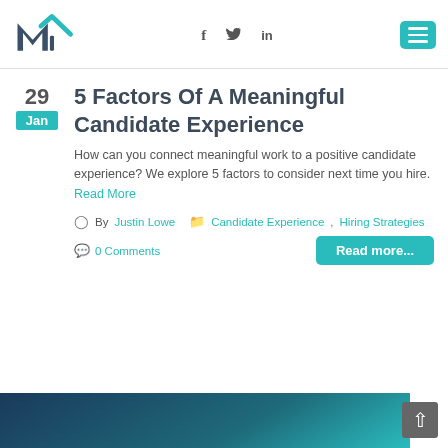M logo with social icons (f, in) and hamburger menu
5 Factors Of A Meaningful Candidate Experience
How can you connect meaningful work to a positive candidate experience? We explore 5 factors to consider next time you hire. Read More
By Justin Lowe  Candidate Experience, Hiring Strategies
0 Comments
[Figure (illustration): Dark teal/navy gradient background image at bottom of page with scroll-to-top button]